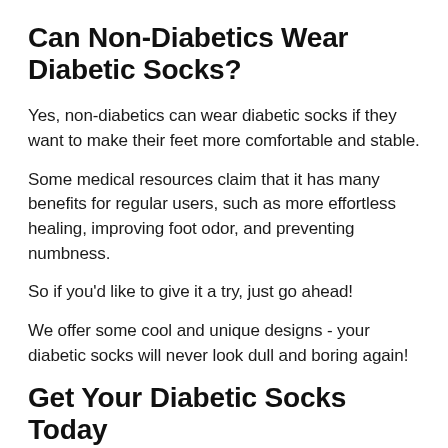Can Non-Diabetics Wear Diabetic Socks?
Yes, non-diabetics can wear diabetic socks if they want to make their feet more comfortable and stable.
Some medical resources claim that it has many benefits for regular users, such as more effortless healing, improving foot odor, and preventing numbness.
So if you'd like to give it a try, just go ahead!
We offer some cool and unique designs - your diabetic socks will never look dull and boring again!
Get Your Diabetic Socks Today